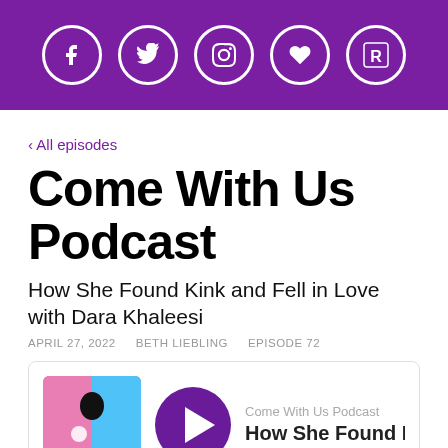[Figure (other): Purple header bar with five social media icon circles: Facebook, Twitter, Instagram, heart/Patreon, and Readex/R icon]
‹ All episodes
Come With Us Podcast
How She Found Kink and Fell in Love with Dara Khaleesi
APRIL 27, 2022   BETH LIEBLING   EPISODE 72
[Figure (other): Podcast player card with podcast thumbnail image (pink/blue illustration), purple play button circle, and text showing 'Come With Us Podcast' and 'How She Found Kink' followed by a partial waveform at the bottom]